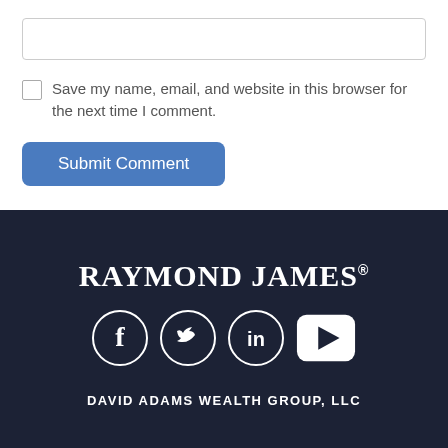[text input box]
Save my name, email, and website in this browser for the next time I comment.
Submit Comment
[Figure (logo): Raymond James logo in white serif bold text with registered trademark symbol]
[Figure (infographic): Four social media icons in a row: Facebook (circle outline), Twitter (circle outline), LinkedIn (circle outline), YouTube (rounded rectangle). All white on dark navy background.]
DAVID ADAMS WEALTH GROUP, LLC